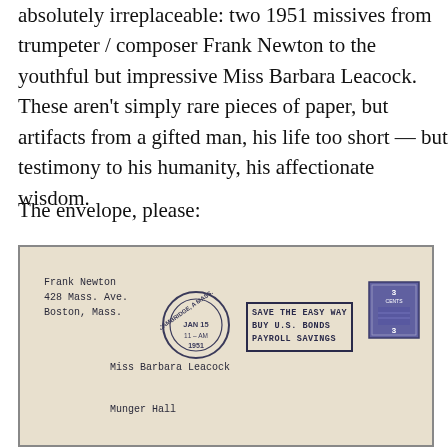absolutely irreplaceable: two 1951 missives from trumpeter / composer Frank Newton to the youthful but impressive Miss Barbara Leacock.  These aren't simply rare pieces of paper, but artifacts from a gifted man, his life too short — but testimony to his humanity, his affectionate wisdom.
The envelope, please:
[Figure (photo): Photograph of a vintage 1951 envelope from Frank Newton, 428 Mass. Ave., Boston, Mass., addressed to Miss Barbara Leacock, Munger Hall, Wellesley College, Wellesley, Massachusetts. The envelope shows a Cambridge, Mass. postmark dated JAN 15 1951, a 'SAVE THE EASY WAY / BUY U.S. BONDS / PAYROLL SAVINGS' slogan cancellation, and a 3-cent US postage stamp.]